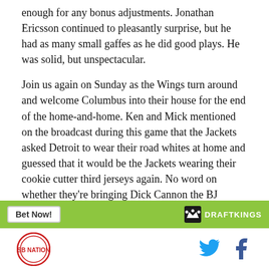enough for any bonus adjustments.  Jonathan Ericsson continued to pleasantly surprise, but he had as many small gaffes as he did good plays.  He was solid, but unspectacular.
Join us again on Sunday as the Wings turn around and welcome Columbus into their house for the end of the home-and-home.  Ken and Mick mentioned on the broadcast during this game that the Jackets asked Detroit to wear their road whites at home and guessed that it would be the Jackets wearing their cookie cutter third jerseys again.  No word on whether they're bringing Dick Cannon the BJ Salesman with them.
[Figure (other): DraftKings advertisement bar with green background, 'Bet Now!' button, and DraftKings logo]
Site logo (circular badge) on left, Twitter and Facebook social icons on right